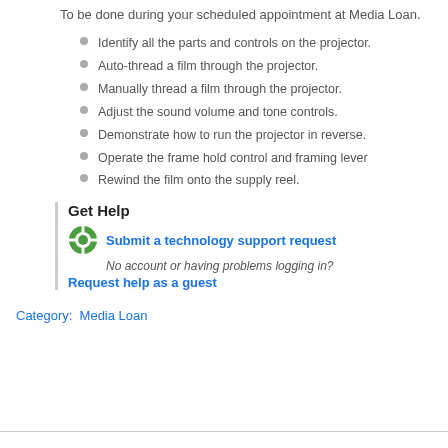To be done during your scheduled appointment at Media Loan.
Identify all the parts and controls on the projector.
Auto-thread a film through the projector.
Manually thread a film through the projector.
Adjust the sound volume and tone controls.
Demonstrate how to run the projector in reverse.
Operate the frame hold control and framing lever
Rewind the film onto the supply reel.
Get Help
Submit a technology support request
No account or having problems logging in?
Request help as a guest
Category:  Media Loan